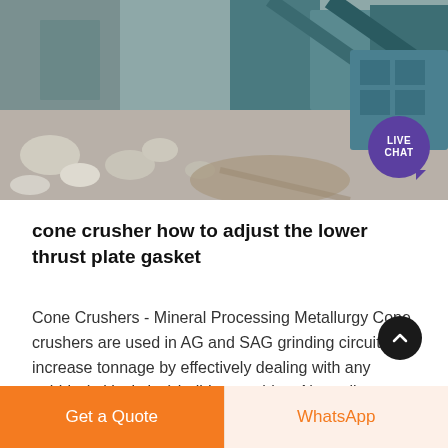[Figure (photo): Aerial/overhead view of a cone crusher and mineral processing facility with large rocks, conveyor belts, and industrial equipment. A 'LIVE CHAT' purple badge is overlaid in the bottom-right corner of the photo.]
cone crusher how to adjust the lower thrust plate gasket
Cone Crushers - Mineral Processing Metallurgy Cone crushers are used in AG and SAG grinding circuits to increase tonnage by effectively dealing with any pebble (critical size) build-up problem Normally ...